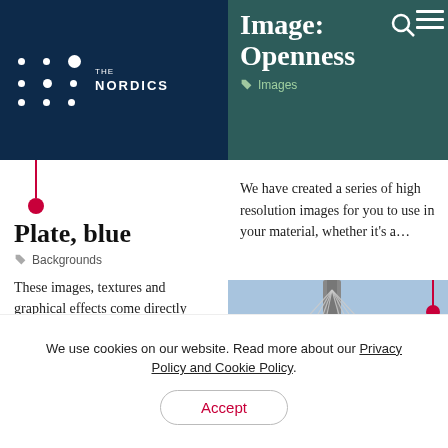[Figure (logo): The Nordics logo - white dots pattern and text on dark navy background]
Plate, blue
Backgrounds
These images, textures and graphical effects come directly from the Nordics. They are inspired by...
[Figure (screenshot): Blue abstract background image strip with pink vertical line]
[Figure (screenshot): Image: Openness header with search and menu icons on teal background]
Images
We have created a series of high resolution images for you to use in your material, whether it's a...
[Figure (photo): Upward view of a suspension bridge with cables against blue sky, with red dot and 'tool' label annotation]
We use cookies on our website. Read more about our Privacy Policy and Cookie Policy.
Accept